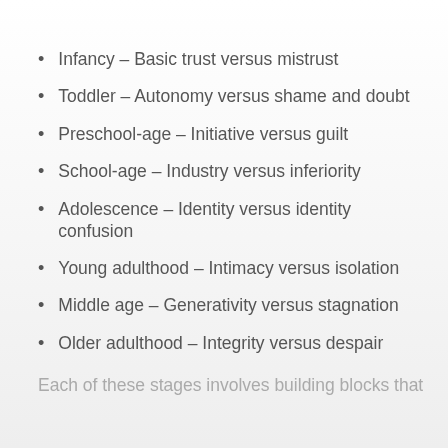Infancy – Basic trust versus mistrust
Toddler – Autonomy versus shame and doubt
Preschool-age – Initiative versus guilt
School-age – Industry versus inferiority
Adolescence – Identity versus identity confusion
Young adulthood – Intimacy versus isolation
Middle age – Generativity versus stagnation
Older adulthood – Integrity versus despair
Each of these stages involves building blocks that they…